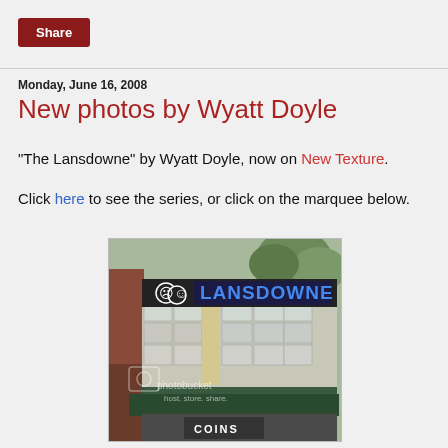Share
Monday, June 16, 2008
New photos by Wyatt Doyle
"The Lansdowne" by Wyatt Doyle, now on New Texture.
Click here to see the series, or click on the marquee below.
[Figure (photo): Photo of the Lansdowne theater marquee sign showing 'LANSDOWNE' in blue letters with comedy/tragedy theater masks logo, building facade below with awning and 'COINS' text visible at bottom]